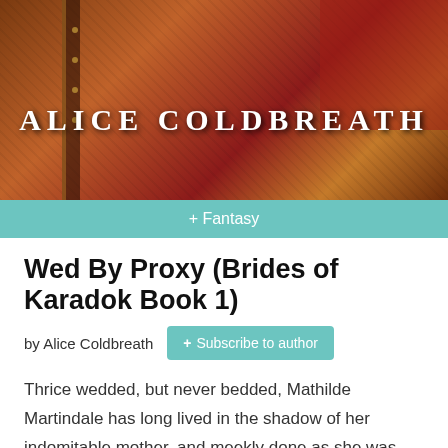[Figure (illustration): Book cover image for 'Wed By Proxy' by Alice Coldbreath, showing a dark medieval/fantasy background with warm brown and red tones. The author name 'ALICE COLDBREATH' is displayed in large white serif letters in the center of the cover.]
+ Fantasy
Wed By Proxy (Brides of Karadok Book 1)
by Alice Coldbreath  + Subscribe to author
Thrice wedded, but never bedded, Mathilde Martindale has long lived in the shadow of her indomitable mother, and meekly done as she was told. Until one day she decides to become mistress of her own destiny and leave the royal court to find her own path. Married by proxy, Lord Martindale has never even met his bride of three